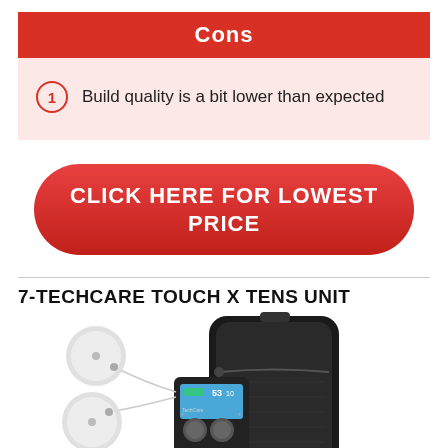Cons
Build quality is a bit lower than expected
CLICK HERE FOR LOWEST PRICE
7-TECHCARE TOUCH X TENS UNIT
[Figure (photo): TechCare Touch X TENS unit device with electrode pads and black carrying case]